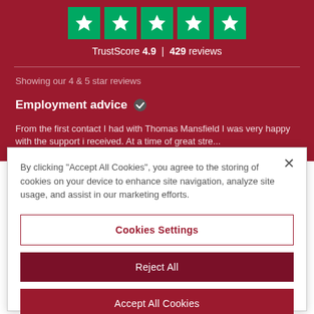[Figure (screenshot): Trustpilot review widget on dark red background showing 5 green star boxes with white stars, TrustScore 4.9 | 429 reviews, 'Showing our 4 & 5 star reviews', review titled 'Employment advice' with checkmark, and partial review text.]
By clicking "Accept All Cookies", you agree to the storing of cookies on your device to enhance site navigation, analyze site usage, and assist in our marketing efforts.
Cookies Settings
Reject All
Accept All Cookies